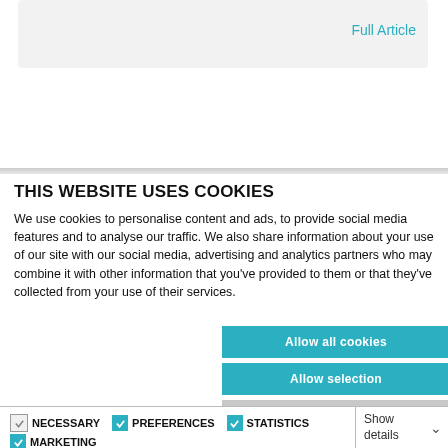Full Article
THIS WEBSITE USES COOKIES
We use cookies to personalise content and ads, to provide social media features and to analyse our traffic. We also share information about your use of our site with our social media, advertising and analytics partners who may combine it with other information that you've provided to them or that they've collected from your use of their services.
Allow all cookies
Allow selection
Use necessary cookies only
NECESSARY  PREFERENCES  STATISTICS  MARKETING  Show details